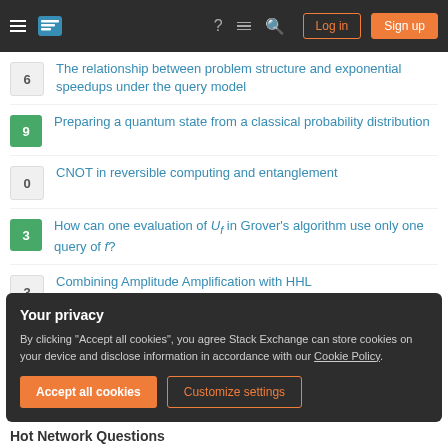Stack Exchange navigation bar with Log in and Sign up buttons
6 — The relationship between problem structure and exponential speedups under the query model
9 — Preparing a quantum state from a classical probability distribution
0 — CNOT in reversible computing and entanglement
3 — How can one evaluation of U_f in Grover's algorithm use only one query of f?
3 — Combining Amplitude Amplification with HHL
3 — In generals Amplitude Amplification algorithm, the initial state does not need to attain equally superposition?
Your privacy — By clicking "Accept all cookies", you agree Stack Exchange can store cookies on your device and disclose information in accordance with our Cookie Policy.
Hot Network Questions